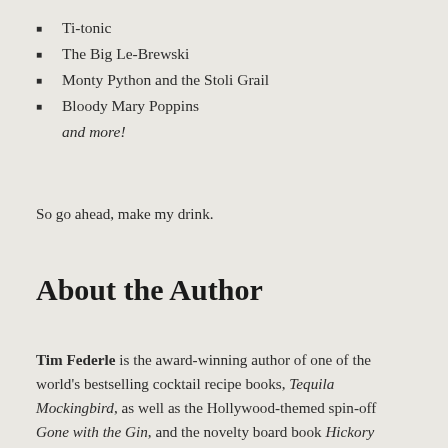Ti-tonic
The Big Le-Brewski
Monty Python and the Stoli Grail
Bloody Mary Poppins
and more!
So go ahead, make my drink.
About the Author
Tim Federle is the award-winning author of one of the world's bestselling cocktail recipe books, Tequila Mockingbird, as well as the Hollywood-themed spin-off Gone with the Gin, and the novelty board book Hickory Daiquiri Dock. His most recent book, Life Is Like a Musical, is a guide to life based on his experiences on Broadway. Declared "a prolific scribe whose breezy wit isn't bound to a single genre" by the Huffington Post, Tim also writes